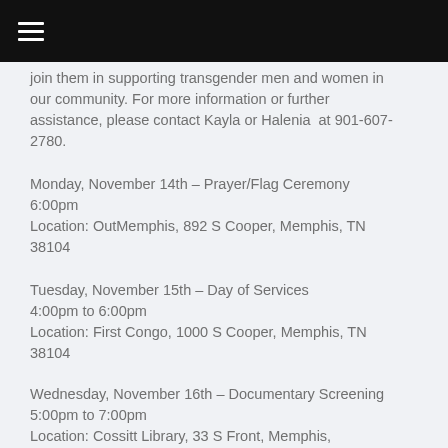☰
join them in supporting transgender men and women in our community. For more information or further assistance, please contact Kayla or Halenia  at 901-607-2780.
Monday, November 14th – Prayer/Flag Ceremony
6:00pm
Location: OutMemphis, 892 S Cooper, Memphis, TN 38104
Tuesday, November 15th – Day of Services
4:00pm to 6:00pm
Location: First Congo, 1000 S Cooper, Memphis, TN 38104
Wednesday, November 16th – Documentary Screening
5:00pm to 7:00pm
Location: Cossitt Library, 33 S Front, Memphis, TN 38104